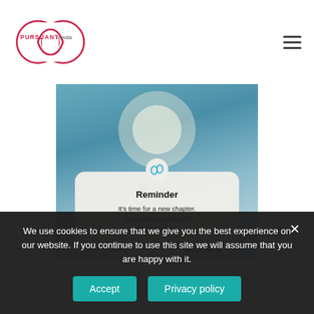[Figure (logo): Pursuant Media infinity loop logo with text PURSUANT and media]
[Figure (screenshot): A mobile-style reminder card overlay on a blue sky background showing a couple silhouette. Card reads: Reminder - It's time for a new chapter. Get a cheap and quick divorce online. Buttons: See Options | Start Now]
We use cookies to ensure that we give you the best experience on our website. If you continue to use this site we will assume that you are happy with it.
Accept
Privacy policy